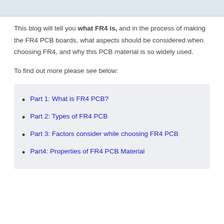This blog will tell you what FR4 is, and in the process of making the FR4 PCB boards, what aspects should be considered when choosing FR4, and why this PCB material is so widely used.
To find out more please see below:
Part 1: What is FR4 PCB?
Part 2: Types of FR4 PCB
Part 3: Factors consider while choosing FR4 PCB
Part4: Properties of FR4 PCB Material